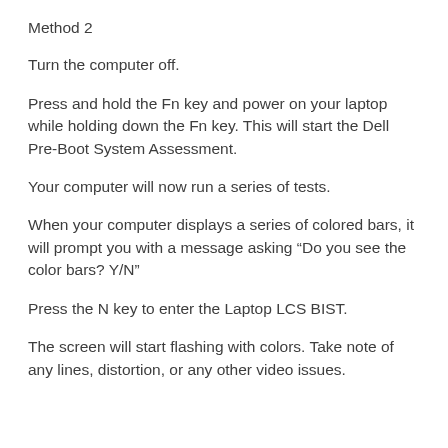Method 2
Turn the computer off.
Press and hold the Fn key and power on your laptop while holding down the Fn key. This will start the Dell Pre-Boot System Assessment.
Your computer will now run a series of tests.
When your computer displays a series of colored bars, it will prompt you with a message asking “Do you see the color bars? Y/N”
Press the N key to enter the Laptop LCS BIST.
The screen will start flashing with colors. Take note of any lines, distortion, or any other video issues.